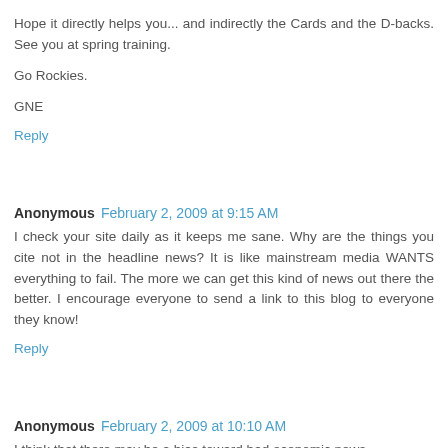Hope it directly helps you... and indirectly the Cards and the D-backs. See you at spring training.
Go Rockies.
GNE
Reply
Anonymous  February 2, 2009 at 9:15 AM
I check your site daily as it keeps me sane. Why are the things you cite not in the headline news? It is like mainstream media WANTS everything to fail. The more we can get this kind of news out there the better. I encourage everyone to send a link to this blog to everyone they know!
Reply
Anonymous  February 2, 2009 at 10:10 AM
I think that there may be a bias toward bad economic news